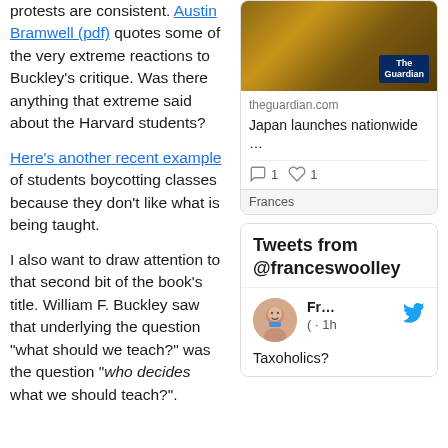protests are consistent. Austin Bramwell (pdf) quotes some of the very extreme reactions to Buckley's critique. Was there anything that extreme said about the Harvard students?
Here's another recent example of students boycotting classes because they don't like what is being taught.
I also want to draw attention to that second bit of the book's title. William F. Buckley saw that underlying the question "what should we teach?" was the question "who decides what we should teach?".
[Figure (screenshot): The Guardian article card showing a photo with The Guardian logo overlay, source 'theguardian.com', headline 'Japan launches nationwide …', with 1 comment and 1 like. Footer shows 'Frances'.]
[Figure (screenshot): Twitter widget showing 'Tweets from @franceswoolley' header, with a tweet by 'Fr...' posted '1h' ago, avatar of a cartoon face, Twitter bird icon, and tweet text 'Taxoholics?']